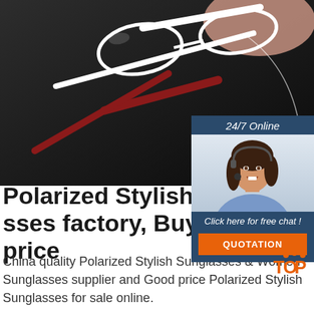[Figure (photo): Product photo of white and red polarized stylish sunglasses on dark background]
[Figure (infographic): 24/7 Online chat widget with female customer service agent wearing headset, 'Click here for free chat!' text, and orange QUOTATION button]
Polarized Stylish Sunglasses factory, Buy good price
China quality Polarized Stylish Sunglasses & Women Sunglasses supplier and Good price Polarized Stylish Sunglasses for sale online.